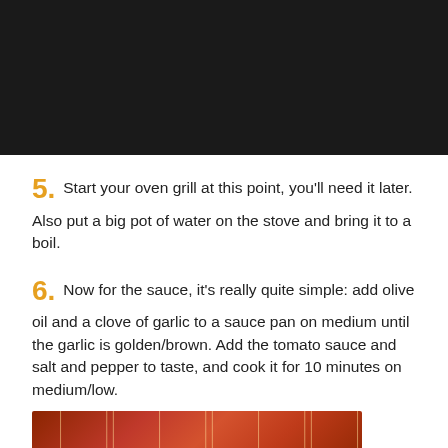[Figure (photo): Dark/black rectangular image area at the top of the page, likely showing a dark food or cooking scene]
5. Start your oven grill at this point, you'll need it later. Also put a big pot of water on the stove and bring it to a boil.
6. Now for the sauce, it's really quite simple: add olive oil and a clove of garlic to a sauce pan on medium until the garlic is golden/brown. Add the tomato sauce and salt and pepper to taste, and cook it for 10 minutes on medium/low.
[Figure (photo): Partial image at bottom showing what appears to be a tomato sauce or red liquid in a pan, partially cropped]